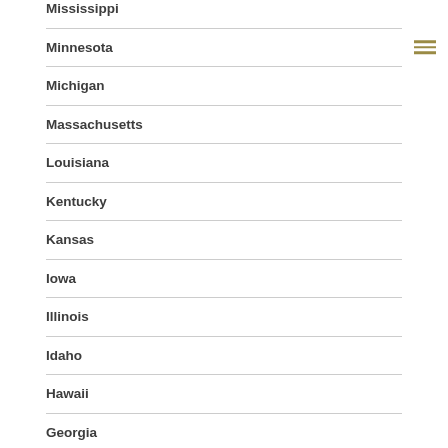Mississippi
Minnesota
Michigan
Massachusetts
Louisiana
Kentucky
Kansas
Iowa
Illinois
Idaho
Hawaii
Georgia
Florida